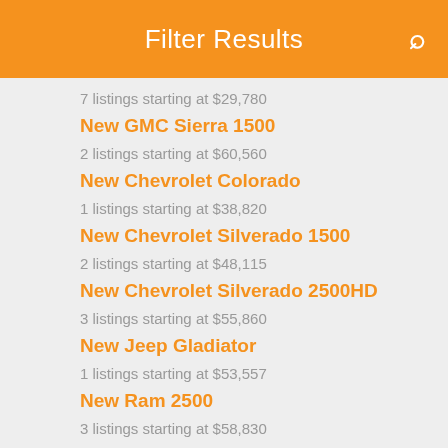Filter Results
7 listings starting at $29,780
New GMC Sierra 1500
2 listings starting at $60,560
New Chevrolet Colorado
1 listings starting at $38,820
New Chevrolet Silverado 1500
2 listings starting at $48,115
New Chevrolet Silverado 2500HD
3 listings starting at $55,860
New Jeep Gladiator
1 listings starting at $53,557
New Ram 2500
3 listings starting at $58,830
New Ram 1500